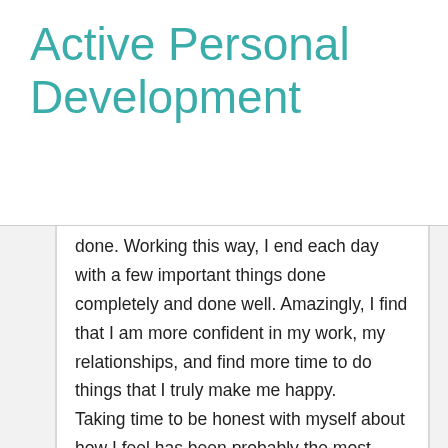Active Personal Development
done. Working this way, I end each day with a few important things done completely and done well. Amazingly, I find that I am more confident in my work, my relationships, and find more time to do things that I truly make me happy. Taking time to be honest with myself about how I feel has been probably the most important factor in finding happiness. When I realized I was unhappy, I was finally free to stop and change directions. So often I was too busy being busy that I didn't realize I